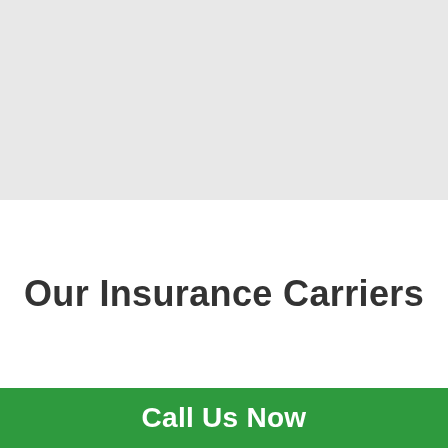[Figure (other): Light gray background banner area at the top of the page]
Our Insurance Carriers
Call Us Now